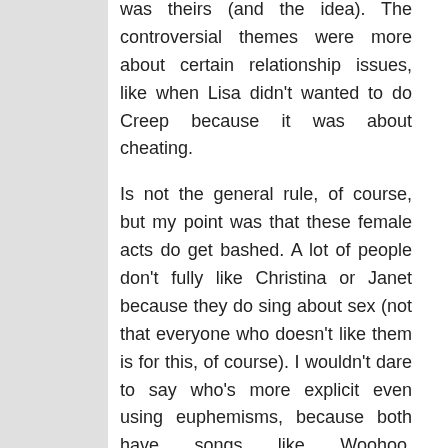was theirs (and the idea). The controversial themes were more about certain relationship issues, like when Lisa didn't wanted to do Creep because it was about cheating.
Is not the general rule, of course, but my point was that these female acts do get bashed. A lot of people don't fully like Christina or Janet because they do sing about sex (not that everyone who doesn't like them is for this, of course). I wouldn't dare to say who's more explicit even using euphemisms, because both have songs like Woohoo, Sexhibition, Get Mine Get Yours or Just A Little While that introduce the matter.
R&B is 50 about sex and, to be fair, its origin is mostly from afro-american, but it also got contributions from other genres as well as from the early days, were also white musicians contributing to the genre. I know some people would see it as white-washing, but I wouldn't